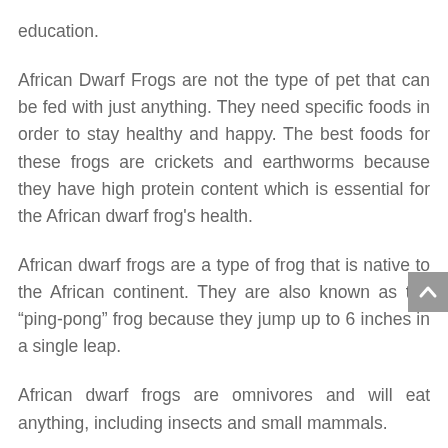education.
African Dwarf Frogs are not the type of pet that can be fed with just anything. They need specific foods in order to stay healthy and happy. The best foods for these frogs are crickets and earthworms because they have high protein content which is essential for the African dwarf frog's health.
African dwarf frogs are a type of frog that is native to the African continent. They are also known as the “ping-pong” frog because they jump up to 6 inches in a single leap.
African dwarf frogs are omnivores and will eat anything, including insects and small mammals.